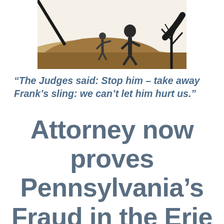[Figure (illustration): Cartoon/illustration showing two figures on a hillside with a bare tree silhouette on the right, rendered in tan, brown, and black tones — appears to be a David and Goliath themed cartoon.]
“The Judges said: Stop him – take away Frank’s sling: we can’t let him hurt us.”
Attorney now proves Pennsylvania’s Fraud in the Erie